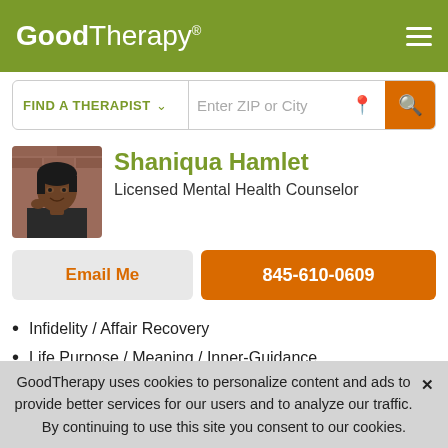GoodTherapy®
FIND A THERAPIST  Enter ZIP or City
Shaniqua Hamlet
Licensed Mental Health Counselor
Email Me
845-610-0609
Infidelity / Affair Recovery
Life Purpose / Meaning / Inner-Guidance
Mood Swings / Mood Disturbance
Parenting
Post Partum Depression
GoodTherapy uses cookies to personalize content and ads to provide better services for our users and to analyze our traffic. By continuing to use this site you consent to our cookies.